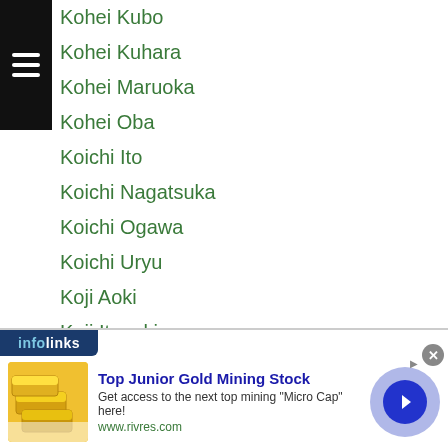Kohei Kubo
Kohei Kuhara
Kohei Maruoka
Kohei Oba
Koichi Ito
Koichi Nagatsuka
Koichi Ogawa
Koichi Uryu
Koji Aoki
Koji Itagaki
Koji Numata
Koji Okubo
Kojiro Sasaki
Kojiro Takada
Koki Eto
Koki ...ameda
[Figure (infographic): Infolinks advertisement banner for Top Junior Gold Mining Stock from www.rivres.com, showing gold bars image and navigation arrow button]